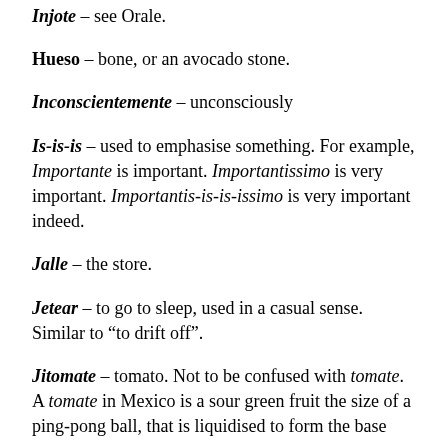Injote – see Orale.
Hueso – bone, or an avocado stone.
Inconscientemente – unconsciously
Is-is-is – used to emphasise something. For example, Importante is important. Importantissimo is very important. Importantis-is-is-issimo is very important indeed.
Jalle – the store.
Jetear – to go to sleep, used in a casual sense. Similar to "to drift off".
Jitomate – tomato. Not to be confused with tomate. A tomate in Mexico is a sour green fruit the size of a ping-pong ball, that is liquidised to form the base